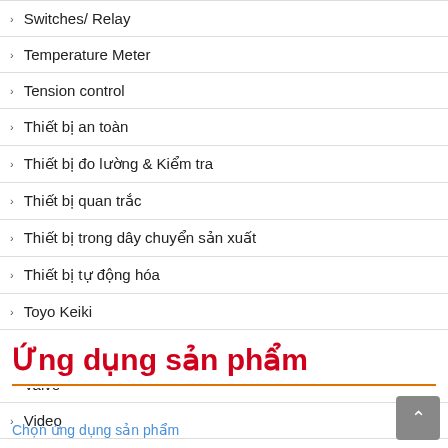Switches/ Relay
Temperature Meter
Tension control
Thiết bị an toàn
Thiết bị đo lường & Kiểm tra
Thiết bị quan trắc
Thiết bị trong dây chuyển sản xuất
Thiết bị tự động hóa
Toyo Keiki
Transmitter - Bộ chuyển đổi tín hiệu
Valve
Video
Ứng dụng sản phẩm
Chọn ứng dụng sản phẩm